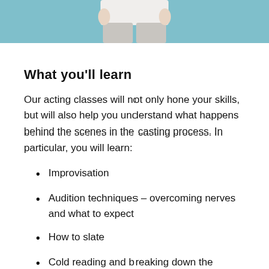[Figure (photo): Partial image of a person from the torso/waist down wearing light grey pants and a white top, against a teal/blue background. Only the lower portion of the body is visible — the image is cropped at the top of the page.]
What you'll learn
Our acting classes will not only hone your skills, but will also help you understand what happens behind the scenes in the casting process. In particular, you will learn:
Improvisation
Audition techniques – overcoming nerves and what to expect
How to slate
Cold reading and breaking down the